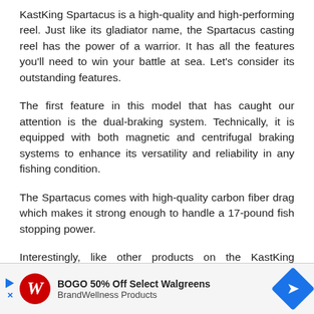KastKing Spartacus is a high-quality and high-performing reel. Just like its gladiator name, the Spartacus casting reel has the power of a warrior. It has all the features you'll need to win your battle at sea. Let's consider its outstanding features.
The first feature in this model that has caught our attention is the dual-braking system. Technically, it is equipped with both magnetic and centrifugal braking systems to enhance its versatility and reliability in any fishing condition.
The Spartacus comes with high-quality carbon fiber drag which makes it strong enough to handle a 17-pound fish stopping power.
Interestingly, like other products on the KastKing production line, this model features an ergonomically designed handle which is covered with high-grade rubber
[Figure (other): Advertisement banner: BOGO 50% Off Select Walgreens BrandWellness Products with Walgreens logo and blue arrow diamond icon]